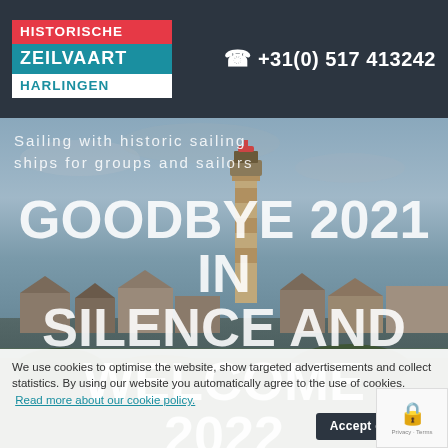HISTORISCHE ZEILVAART HARLINGEN
+31(0) 517 413242
[Figure (photo): Lighthouse and coastal town buildings in background, overcast sky, photographic background image]
Sailing with historic sailing ships for groups and sailors
GOODBYE 2021 IN SILENCE AND WELCOME 2022
We use cookies to optimise the website, show targeted advertisements and collect statistics. By using our website you automatically agree to the use of cookies. Read more about our cookie policy.
Accept cookies